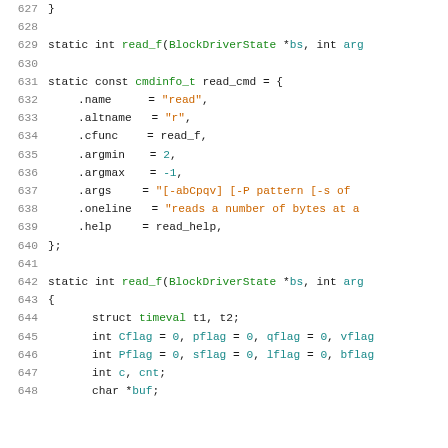[Figure (screenshot): Source code listing showing C code for read_f function and read_cmd structure, lines 627-648]